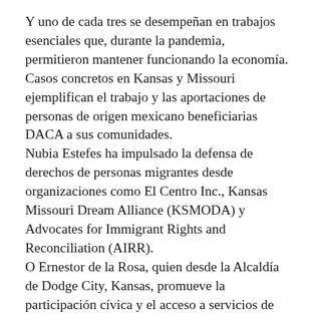Y uno de cada tres se desempeñan en trabajos esenciales que, durante la pandemia, permitieron mantener funcionando la economía. Casos concretos en Kansas y Missouri ejemplifican el trabajo y las aportaciones de personas de origen mexicano beneficiarias DACA a sus comunidades. Nubia Estefes ha impulsado la defensa de derechos de personas migrantes desde organizaciones como El Centro Inc., Kansas Missouri Dream Alliance (KSMODA) y Advocates for Immigrant Rights and Reconciliation (AIRR). O Ernestor de la Rosa, quien desde la Alcaldía de Dodge City, Kansas, promueve la participación cívica y el acceso a servicios de gobierno en el condado Ford, donde 45% de sus habitantes se identifican como de origen mexicano. Más allá de una medida administrativa, DACA representa la inevitable vinculación entre México...